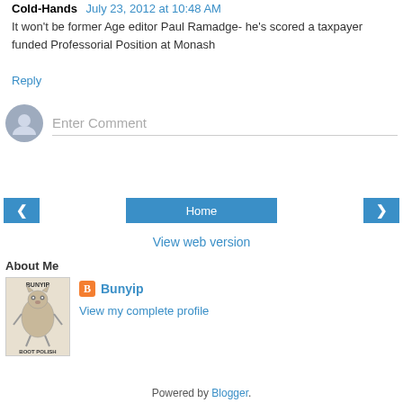Cold-Hands July 23, 2012 at 10:48 AM
It won't be former Age editor Paul Ramadge- he's scored a taxpayer funded Professorial Position at Monash
Reply
Enter Comment
Home
View web version
About Me
[Figure (illustration): Bunyip boot polish illustration - creature/cat-like figure with text BUNYIP and BOOT POLISH]
Bunyip
View my complete profile
Powered by Blogger.